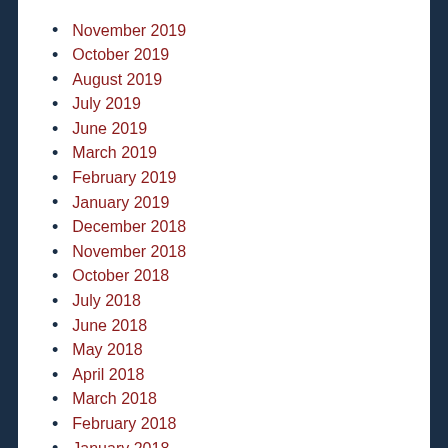November 2019
October 2019
August 2019
July 2019
June 2019
March 2019
February 2019
January 2019
December 2018
November 2018
October 2018
July 2018
June 2018
May 2018
April 2018
March 2018
February 2018
January 2018
December 2017
November 2017
October 2017